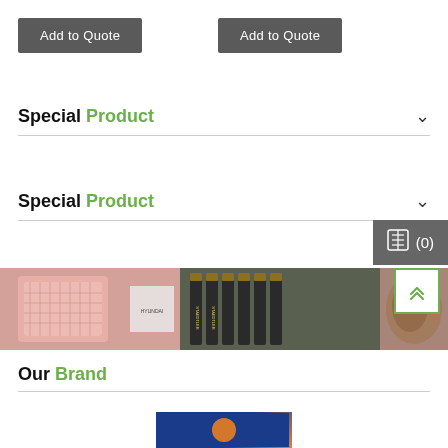Add to Quote
Add to Quote
Special Product
Special Product
[Figure (photo): A horizontal strip showing multiple product images: pink/red mesh product boxes, dark pencils/markers stacked, and a brown leather/glove item.]
Our Brand